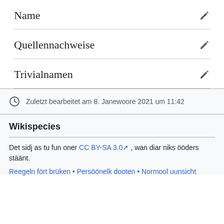Name
Quellennachweise
Trivialnamen
Zuletzt bearbeitet am 8. Janewoore 2021 um 11:42
Wikispecies
Det sidj as tu fun oner CC BY-SA 3.0 , wan diar niks ööders stäänt.
Reegeln fört brüken • Persöönelk dooten • Normool uunsicht